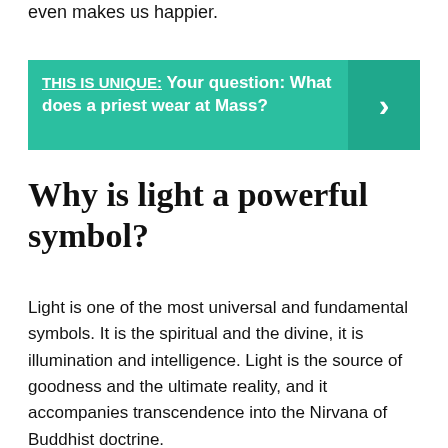even makes us happier.
[Figure (infographic): Teal banner with label 'THIS IS UNIQUE:' underlined, followed by bold text 'Your question: What does a priest wear at Mass?' and a right-arrow chevron on a darker teal background on the right side.]
Why is light a powerful symbol?
Light is one of the most universal and fundamental symbols. It is the spiritual and the divine, it is illumination and intelligence. Light is the source of goodness and the ultimate reality, and it accompanies transcendence into the Nirvana of Buddhist doctrine.